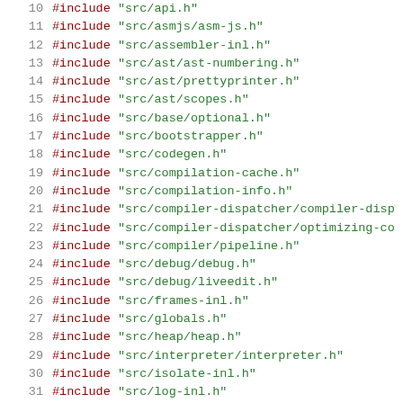Code listing showing C++ #include directives, lines 10-31, including headers for asmjs, assembler, ast, base, bootstrapper, codegen, compilation-cache, compilation-info, compiler-dispatcher, compiler, debug, frames, globals, heap, interpreter, isolate, and log.